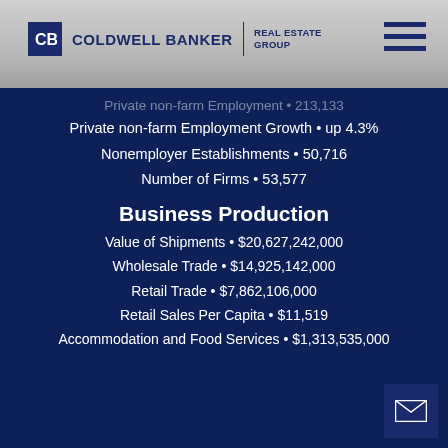Coldwell Banker Real Estate Group
Private non-farm Employment • 213,133
Private non-farm Employment Growth • up 4.3%
Nonemployer Establishments • 50,716
Number of Firms • 53,577
Business Production
Value of Shipments • $20,627,242,000
Wholesale Trade • $14,925,142,000
Retail Trade • $7,862,106,000
Retail Sales Per Capita • $11,519
Accommodation and Food Services • $1,313,535,000